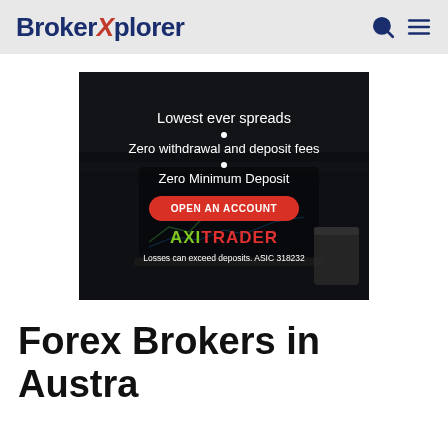BrokerXplorer
[Figure (infographic): AxiTrader advertisement banner showing 'Lowest ever spreads', 'Zero withdrawal and deposit fees', 'Zero Minimum Deposit', an 'OPEN AN ACCOUNT' red button, AXITRADER logo, and disclaimer 'Losses can exceed deposits. ASIC 318232'. Background shows a laptop with trading charts.]
Forex Brokers in Australia